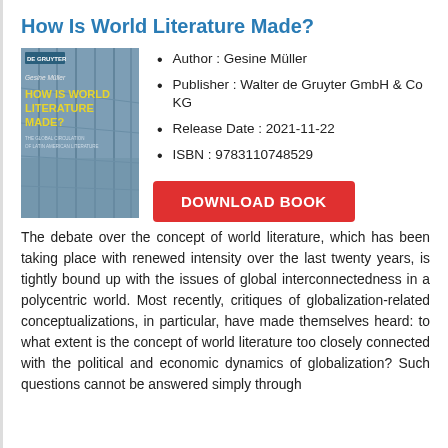How Is World Literature Made?
[Figure (illustration): Book cover of 'How Is World Literature Made?' by Gesine Müller, published by De Gruyter. The cover shows a modern architectural interior (library or similar building) with a blue-grey color scheme and yellow title text.]
Author : Gesine Müller
Publisher : Walter de Gruyter GmbH & Co KG
Release Date : 2021-11-22
ISBN : 9783110748529
DOWNLOAD BOOK
The debate over the concept of world literature, which has been taking place with renewed intensity over the last twenty years, is tightly bound up with the issues of global interconnectedness in a polycentric world. Most recently, critiques of globalization-related conceptualizations, in particular, have made themselves heard: to what extent is the concept of world literature too closely connected with the political and economic dynamics of globalization? Such questions cannot be answered simply through